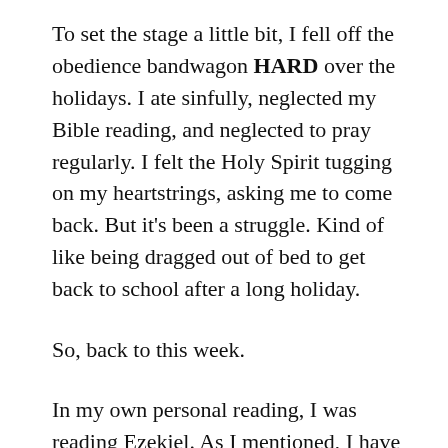To set the stage a little bit, I fell off the obedience bandwagon HARD over the holidays. I ate sinfully, neglected my Bible reading, and neglected to pray regularly. I felt the Holy Spirit tugging on my heartstrings, asking me to come back. But it's been a struggle. Kind of like being dragged out of bed to get back to school after a long holiday.
So, back to this week.
In my own personal reading, I was reading Ezekiel. As I mentioned, I have struggled to motivate myself to read all of the pronouncements of judgements on nations whose histories and geographies I only have a minimal grasp. But in Ezekiel 33, which is